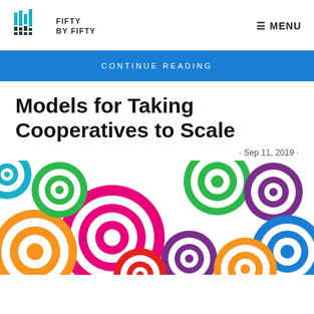FIFTY BY FIFTY
CONTINUE READING
Models for Taking Cooperatives to Scale
· Sep 11, 2019 ·
[Figure (illustration): Colorful concentric circles pattern in multiple colors including pink, green, orange, purple, blue, and red on white background]